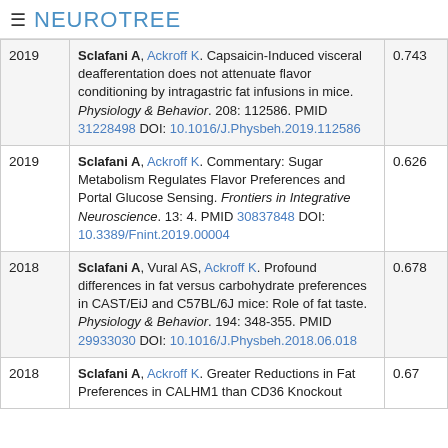≡ NEUROTREE
| Year | Reference | Score |
| --- | --- | --- |
| 2019 | Sclafani A, Ackroff K. Capsaicin-Induced visceral deafferentation does not attenuate flavor conditioning by intragastric fat infusions in mice. Physiology & Behavior. 208: 112586. PMID 31228498 DOI: 10.1016/J.Physbeh.2019.112586 | 0.743 |
| 2019 | Sclafani A, Ackroff K. Commentary: Sugar Metabolism Regulates Flavor Preferences and Portal Glucose Sensing. Frontiers in Integrative Neuroscience. 13: 4. PMID 30837848 DOI: 10.3389/Fnint.2019.00004 | 0.626 |
| 2018 | Sclafani A, Vural AS, Ackroff K. Profound differences in fat versus carbohydrate preferences in CAST/EiJ and C57BL/6J mice: Role of fat taste. Physiology & Behavior. 194: 348-355. PMID 29933030 DOI: 10.1016/J.Physbeh.2018.06.018 | 0.678 |
| 2018 | Sclafani A, Ackroff K. Greater Reductions in Fat Preferences in CALHM1 than CD36 Knockout | 0.67 |